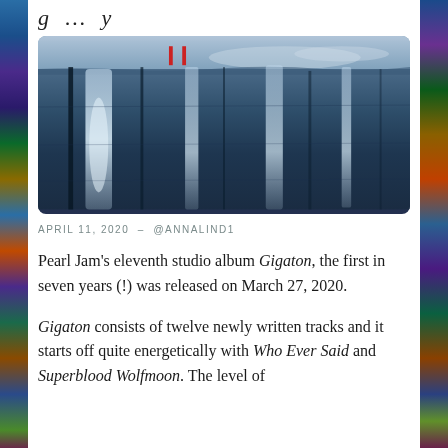…g … y
[Figure (photo): Photograph of a glacier ice cliff face with vertical streaks of meltwater, dark blue-grey tones, with small red markers visible at the top edge against a cloudy sky]
APRIL 11, 2020 – @ANNALINDI
Pearl Jam's eleventh studio album Gigaton, the first in seven years (!) was released on March 27, 2020.
Gigaton consists of twelve newly written tracks and it starts off quite energetically with Who Ever Said and Superblood Wolfmoon. The level of